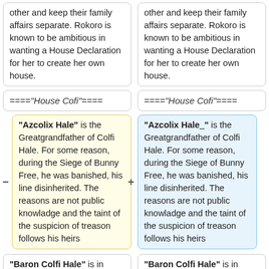other and keep their family affairs separate. Rokoro is known to be ambitious in wanting a House Declaration for her to create her own house.
other and keep their family affairs separate. Rokoro is known to be ambitious in wanting a House Declaration for her to create her own house.
===='''House Cofi'''====
====''House Cofi''====
'''Azcolix Hale''' is the Greatgrandfather of Colfi Hale. For some reason, during the Siege of Bunny Free, he was banished, his line disinherited. The reasons are not public knowladge and the taint of the suspicion of treason follows his heirs
'''Azcolix Hale''' is the Greatgrandfather of Colfi Hale. For some reason, during the Siege of Bunny Free, he was banished, his line disinherited. The reasons are not public knowladge and the taint of the suspicion of treason follows his heirs
'''Baron Colfi Hale''' is in direct line of the House Hale in Dame Hanith and is he
'''Baron Colfi Hale''' is in direct line of the House Hale in Dame Hanith and is he